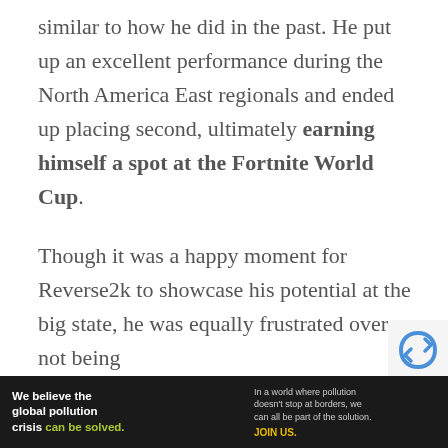similar to how he did in the past. He put up an excellent performance during the North America East regionals and ended up placing second, ultimately earning himself a spot at the Fortnite World Cup. Though it was a happy moment for Reverse2k to showcase his potential at the big state, he was equally frustrated over not being
[Figure (other): reCAPTCHA badge icon in bottom right corner]
[Figure (other): Pure Earth advertisement banner at bottom. Black background left portion reads 'We believe the global pollution crisis can be solved.' with green highlight on 'can be solved.' Middle text: 'In a world where pollution doesn't stop at borders, we can all be part of the solution. JOIN US.' Right portion shows Pure Earth logo on white background.]